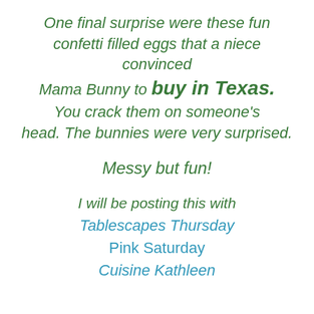One final surprise were these fun confetti filled eggs that a niece convinced Mama Bunny to buy in Texas. You crack them on someone's head. The bunnies were very surprised.
Messy but fun!
I will be posting this with Tablescapes Thursday Pink Saturday Cuisine Kathleen